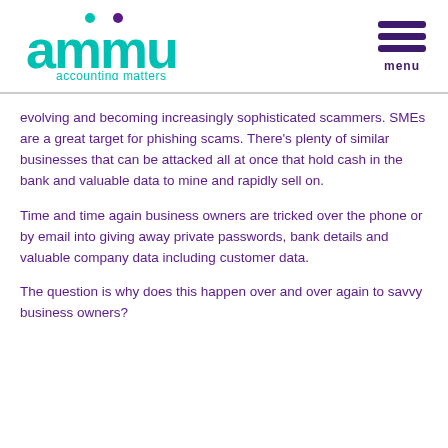[Figure (logo): ammu accounting matters logo with teal lettering and purple dots]
evolving and becoming increasingly sophisticated scammers. SMEs are a great target for phishing scams. There's plenty of similar businesses that can be attacked all at once that hold cash in the bank and valuable data to mine and rapidly sell on.
Time and time again business owners are tricked over the phone or by email into giving away private passwords, bank details and valuable company data including customer data.
The question is why does this happen over and over again to savvy business owners?